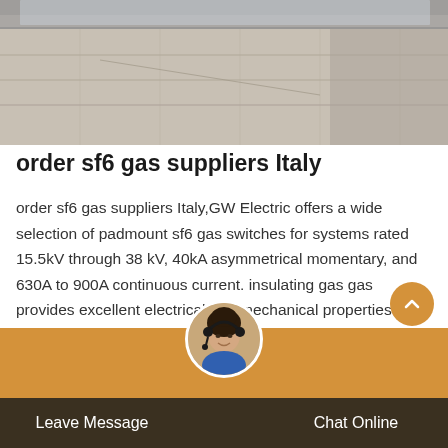[Figure (photo): Aerial or ground-level photo of a paved/tiled outdoor surface area, possibly a substation or industrial facility exterior, with concrete and gravel visible.]
order sf6 gas suppliers Italy
order sf6 gas suppliers Italy,GW Electric offers a wide selection of padmount sf6 gas switches for systems rated 15.5kV through 38 kV, 40kA asymmetrical momentary, and 630A to 900A continuous current. insulating gas gas provides excellent electrical and mechanical properties and offers many advantages compared to other dielectrics. Switches can be operated either manually or through
[Figure (photo): Customer service representative avatar photo - woman with headset, used as chat/contact button overlay at bottom of page.]
Leave Message   Chat Online